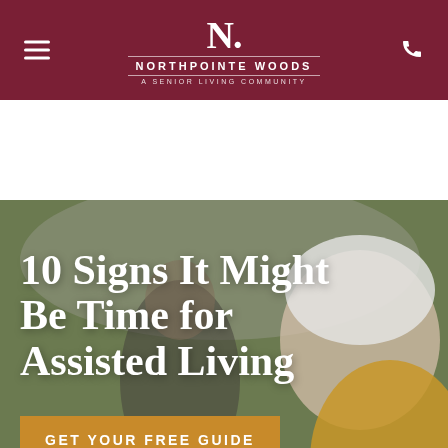Northpointe Woods — A Senior Living Community
10 Signs It Might Be Time for Assisted Living
GET YOUR FREE GUIDE